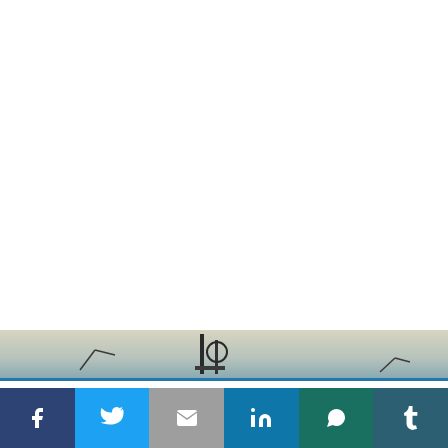[Figure (photo): Partial view of a photo showing what appears to be industrial or architectural structures against a light sky, visible as a strip near the bottom of the page.]
This website uses cookies.
Accept
[Figure (infographic): Social media sharing bar with six buttons: Facebook (dark blue), Twitter (light blue), Gmail/Email (gray), LinkedIn (blue), WhatsApp (dark teal), Tumblr (dark teal/blue).]